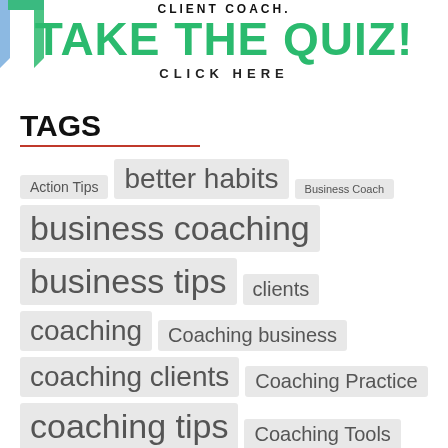[Figure (infographic): Green diagonal arrow/chevron logo in top-left corner]
TAKE THE QUIZ!
CLICK HERE
TAGS
Action Tips  better habits  Business Coach  business coaching  business tips  clients  coaching  Coaching business  coaching clients  Coaching Practice  coaching tips  Coaching Tools  Emotional Intelligence  find coaching clients  goals  goalsetting  goal setting  good habits